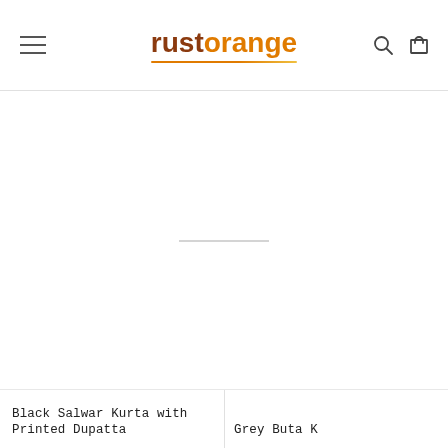rustorange
[Figure (other): Large empty white product image area with a horizontal gray divider line in the center]
Black Salwar Kurta with Printed Dupatta
Grey Buta K